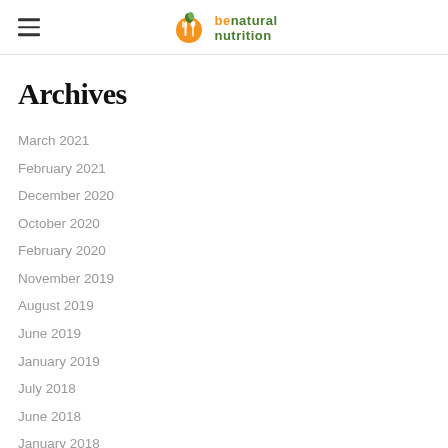benatural nutrition
Archives
March 2021
February 2021
December 2020
October 2020
February 2020
November 2019
August 2019
June 2019
January 2019
July 2018
June 2018
January 2018
August 2017
April 2017
January 2017